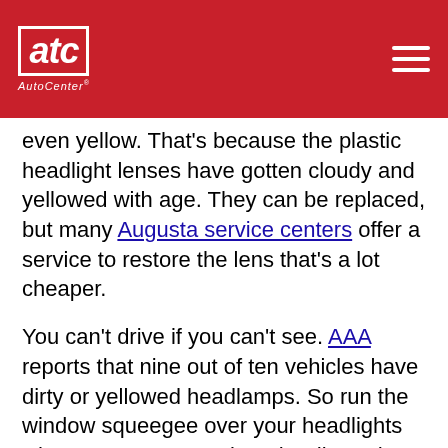ATC AutoCenter
even yellow. That's because the plastic headlight lenses have gotten cloudy and yellowed with age. They can be replaced, but many Augusta service centers offer a service to restore the lens that's a lot cheaper.
You can't drive if you can't see. AAA reports that nine out of ten vehicles have dirty or yellowed headlamps. So run the window squeegee over your headlights when you gas up to clear the dirt and bugs. Get your lenses restored if they need it and don't forget to replace your standard or halogen bulbs every fall.